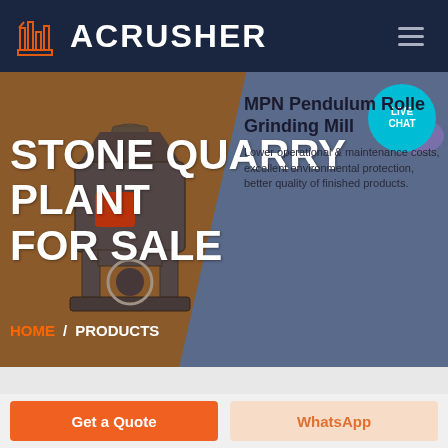ACRUSHER
STONE QUARRY PLANT FOR SALE
[Figure (screenshot): MPN Pendulum Roller Grinding Mill industrial machinery product image on hero banner with brown and grey-blue background]
MPN Pendulum Roller Grinding Mill
Lower operational & maintenance costs, excellent environmental protection, better quality of finished products.
HOME / PRODUCTS
Get a Quote
WhatsApp